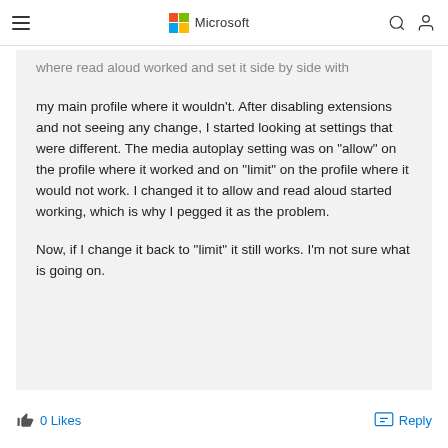Microsoft
where read aloud worked and set it side by side with my main profile where it wouldn't. After disabling extensions and not seeing any change, I started looking at settings that were different. The media autoplay setting was on "allow" on the profile where it worked and on "limit" on the profile where it would not work. I changed it to allow and read aloud started working, which is why I pegged it as the problem.

Now, if I change it back to "limit" it still works. I'm not sure what is going on.
0 Likes
Reply